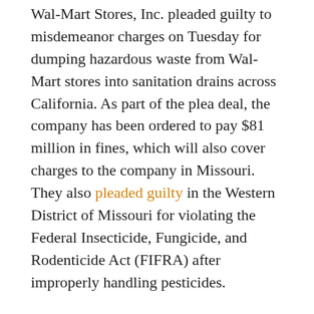Wal-Mart Stores, Inc. pleaded guilty to misdemeanor charges on Tuesday for dumping hazardous waste from Wal-Mart stores into sanitation drains across California. As part of the plea deal, the company has been ordered to pay $81 million in fines, which will also cover charges to the company in Missouri. They also pleaded guilty in the Western District of Missouri for violating the Federal Insecticide, Fungicide, and Rodenticide Act (FIFRA) after improperly handling pesticides.
The investigation into Wal-Mart's waste-dumping practices began eight years ago when a San Diego health department worker witnessed a Wal-Mart employee pouring bleach down a drain. The investigation ultimately concluded that the chain had improperly dumped hazardous waste in 16